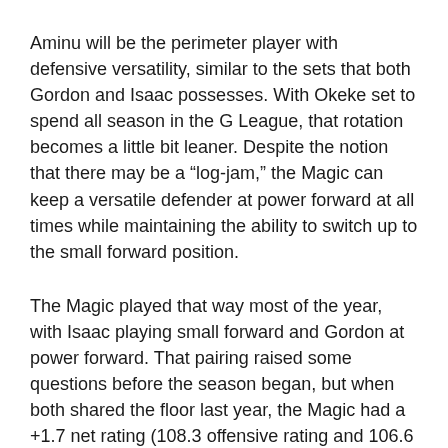Aminu will be the perimeter player with defensive versatility, similar to the sets that both Gordon and Isaac possesses. With Okeke set to spend all season in the G League, that rotation becomes a little bit leaner. Despite the notion that there may be a “log-jam,” the Magic can keep a versatile defender at power forward at all times while maintaining the ability to switch up to the small forward position.
The Magic played that way most of the year, with Isaac playing small forward and Gordon at power forward. That pairing raised some questions before the season began, but when both shared the floor last year, the Magic had a +1.7 net rating (108.3 offensive rating and 106.6 defensive rating).